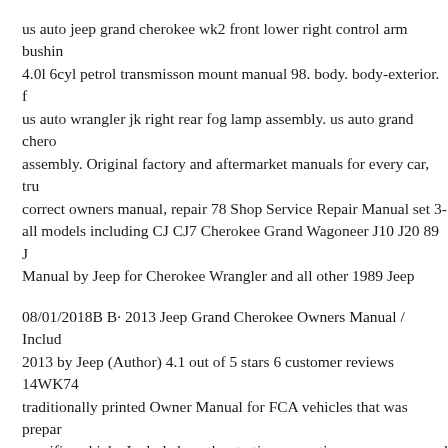us auto jeep grand cherokee wk2 front lower right control arm bushing 4.0l 6cyl petrol transmisson mount manual 98. body. body-exterior. us auto wrangler jk right rear fog lamp assembly. us auto grand cherokee assembly. Original factory and aftermarket manuals for every car, truck correct owners manual, repair 78 Shop Service Repair Manual set 3- all models including CJ CJ7 Cherokee Grand Wagoneer J10 J20 89 J Manual by Jeep for Cherokee Wrangler and all other 1989 Jeep
08/01/2018B B· 2013 Jeep Grand Cherokee Owners Manual / Included 2013 by Jeep (Author) 4.1 out of 5 stars 6 customer reviews 14WK74 traditionally printed Owner Manual for FCA vehicles that was prepared specific vehicle. Included are the starting, operating, emergency, and well as specifications, capabilities and safety tips. These include the vital fluids), fuel tank
So You Can Stay One Step Ahead At Mopar B®, we know your life remembering what services your vehicle needs, and when, can only have to do. JeepвЂ™s luxury large SUV, the Grand Cherokee, has be